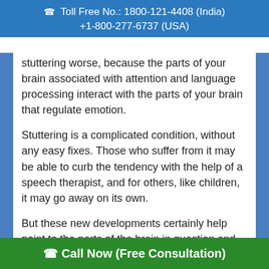Toll Free No.: 1800-121-4408 (India)
+1-800-277-6737 (USA)
stuttering worse, because the parts of your brain associated with attention and language processing interact with the parts of your brain that regulate emotion.
Stuttering is a complicated condition, without any easy fixes. Those who suffer from it may be able to curb the tendency with the help of a speech therapist, and for others, like children, it may go away on its own.
But these new developments certainly help point to the parts of the brain in question and may help scientists develop a solution.
Call Now (Free Consultation)